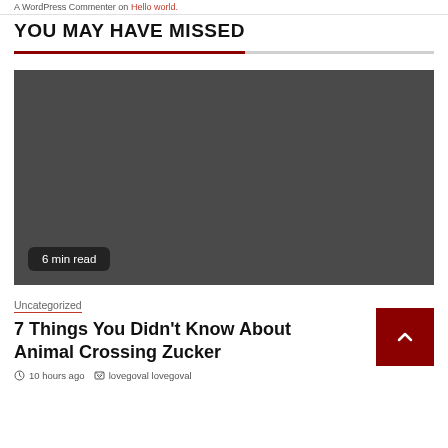A WordPress Commenter on Hello world.
YOU MAY HAVE MISSED
[Figure (photo): Dark placeholder image for article thumbnail]
6 min read
Uncategorized
7 Things You Didn't Know About Animal Crossing Zucker
10 hours ago  lovegoval lovegoval